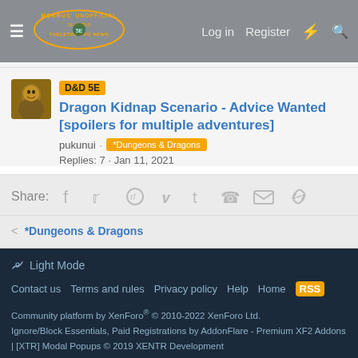Morrus' Unofficial Tabletop RPG News — Log in | Register
D&D 5E Dragon Kidnap Scenario - Advice Wanted [spoilers for multiple adventures]
pukunui · *Dungeons & Dragons · Replies: 7 · Jan 11, 2021
Share: (Facebook, Twitter, Reddit, Pinterest, Tumblr, WhatsApp, Email, Link)
< *Dungeons & Dragons
Light Mode
Contact us · Terms and rules · Privacy policy · Help · Home
Community platform by XenForo® © 2010-2022 XenForo Ltd.
Ignore/Block Essentials, Paid Registrations by AddonFlare - Premium XF2 Addons
| [XTR] Modal Popups © 2019 XENTR Development
Discord Integration © Jason Axelrod of 8WAYRUN
XenCarta 2 PRO © Jason Axelrod of 8WAYRUN